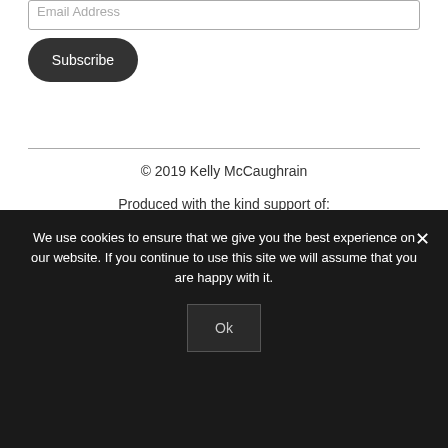Email Address
Subscribe
© 2019 Kelly McCaughrain
Produced with the kind support of:
[Figure (logo): National Lottery crossed fingers logo and Arts Council of Northern Ireland logo]
We use cookies to ensure that we give you the best experience on our website. If you continue to use this site we will assume that you are happy with it.
Ok